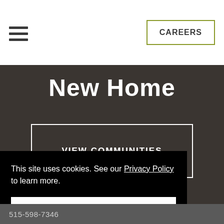CAREERS
New Home
VIEW COMMUNITIES
This site uses cookies. See our Privacy Policy to learn more.
Okay, Got it
515-598-7346